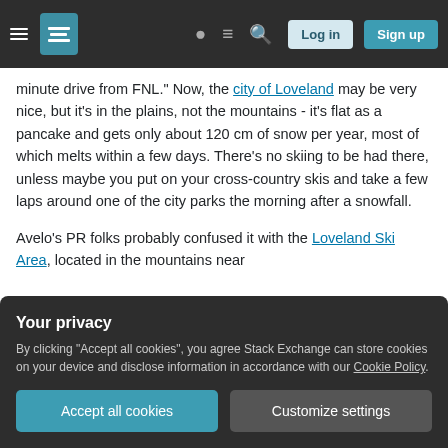Navigation bar with hamburger menu, logo, icons, Log in and Sign up buttons
minute drive from FNL." Now, the city of Loveland may be very nice, but it's in the plains, not the mountains - it's flat as a pancake and gets only about 120 cm of snow per year, most of which melts within a few days. There's no skiing to be had there, unless maybe you put on your cross-country skis and take a few laps around one of the city parks the morning after a snowfall.
Avelo's PR folks probably confused it with the Loveland Ski Area, located in the mountains near
Your privacy
By clicking "Accept all cookies", you agree Stack Exchange can store cookies on your device and disclose information in accordance with our Cookie Policy.
Accept all cookies
Customize settings
named after William A. H. Loveland).